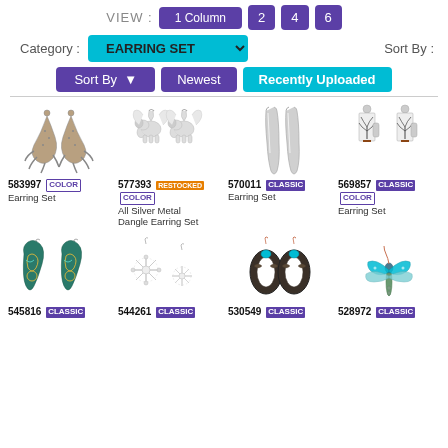VIEW : 1 Column  2  4  6
Category : EARRING SET   Sort By :
Sort By   Newest   Recently Uploaded
[Figure (photo): Lizard/gecko shaped dangle earring set, metallic silver]
583997 COLOR
Earring Set
[Figure (photo): Silver angel/elephant shaped dangle earring set]
577393 RESTOCKED COLOR
All Silver Metal Dangle Earring Set
[Figure (photo): Long silver teardrop dangle earring set]
570011 CLASSIC
Earring Set
[Figure (photo): Black and white tree art rectangular clip earring set]
569857 CLASSIC COLOR
Earring Set
[Figure (photo): Teal and gold filigree teardrop dangle earring set]
[Figure (photo): Silver snowflake dangle earring set]
[Figure (photo): Teal accent dark oval hoop dangle earring set]
[Figure (photo): Teal dragonfly dangle earring]
545816 CLASSIC
544261 CLASSIC
530549 CLASSIC
528972 CLASSIC